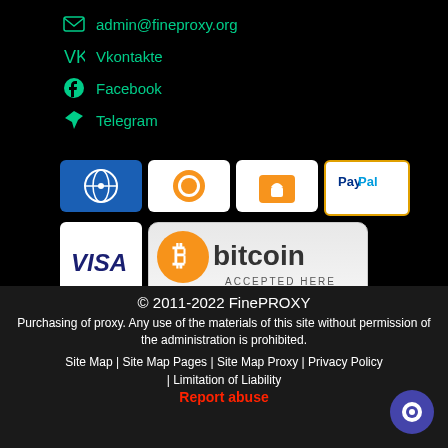admin@fineproxy.org
Vkontakte
Facebook
Telegram
[Figure (logo): Payment method logos: webmoney-like blue globe icon, Qiwi orange circle, orange wallet, PayPal, Visa, Bitcoin Accepted Here, MasterCard, Ethereum Accepted Here]
© 2011-2022 FinePROXY
Purchasing of proxy. Any use of the materials of this site without permission of the administration is prohibited.
Site Map | Site Map Pages | Site Map Proxy | Privacy Policy | Limitation of Liability
Report abuse